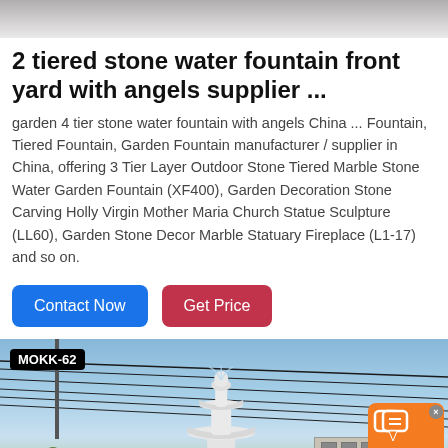[Figure (photo): Partial top image of a stone water fountain with angels, cropped at top of page]
2 tiered stone water water fountain front yard with angels supplier ...
garden 4 tier stone water fountain with angels China ... Fountain, Tiered Fountain, Garden Fountain manufacturer / supplier in China, offering 3 Tier Layer Outdoor Stone Tiered Marble Stone Water Garden Fountain (XF400), Garden Decoration Stone Carving Holly Virgin Mother Maria Church Statue Sculpture (LL60), Garden Stone Decor Marble Statuary Fireplace (L1-17) and so on.
Contact Now | Get Price
[Figure (photo): Outdoor photo of a white marble tiered stone water fountain (MOKK-62) against a sky with utility wires, trees, and buildings in the background. A chat widget overlay appears in the bottom right corner.]